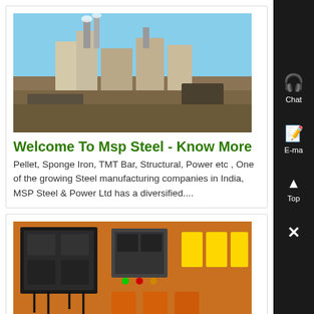[Figure (photo): Industrial steel plant facility with smokestacks and processing equipment against blue sky]
Welcome To Msp Steel - Know More
Pellet, Sponge Iron, TMT Bar, Structural, Power etc , One of the growing Steel manufacturing companies in India, MSP Steel & Power Ltd has a diversified....
[Figure (photo): Electrical panel or switchgear with orange components, circuit breakers, and wiring]
Project Profile of Predominant Engineers & Contractors Pvt Ltd - Know More
Coal Washery 1 x 300 Ton , 06 MTPA Pellet Plant , Mr KC Sood as a Technical Director in Prakash Industries , M/s Zoom Vallabh Steel Ltd, Mumbai...